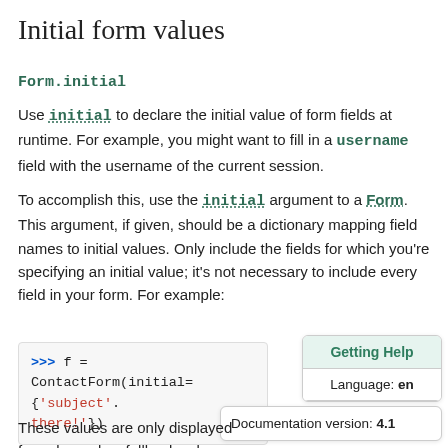Initial form values
Form.initial
Use initial to declare the initial value of form fields at runtime. For example, you might want to fill in a username field with the username of the current session.
To accomplish this, use the initial argument to a Form. This argument, if given, should be a dictionary mapping field names to initial values. Only include the fields for which you're specifying an initial value; it's not necessary to include every field in your form. For example:
>>> f = ContactForm(initial={'subject'. hi
there!'})
Getting Help
Language: en
Documentation version: 4.1
These values are only displayed for unb used as fallback values if a particular value isn't provided.